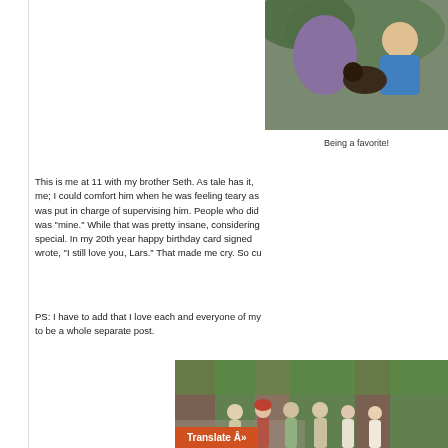[Figure (photo): Photo of a child (approximately 11 years old) with brother Seth holding a dark puppy, outdoors]
Being a favorite!
This is me at 11 with my brother Seth. As tale has it, me; I could comfort him when he was feeling teary as was put in charge of supervising him. People who did was "mine." While that was pretty insane, considering special. In my 20th year happy birthday card signed wrote, "I still love you, Lars." That made me cry. So cu
PS: I have to add that I love each and everyone of my to be a whole separate post.
[Figure (photo): Group photo of several adults standing outdoors among trees]
Translate Â»